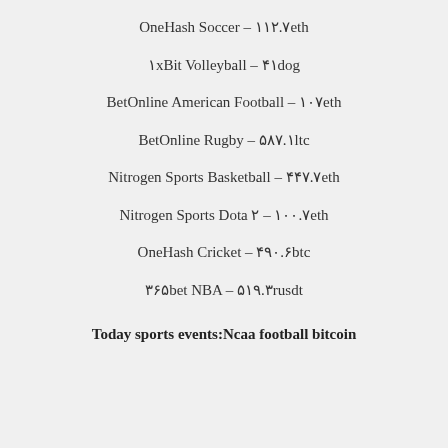OneHash Soccer – ۱۱۲.۷eth
۱xBit Volleyball – ۴۱dog
BetOnline American Football – ۱۰۷eth
BetOnline Rugby – ۵۸۷.۱ltc
Nitrogen Sports Basketball – ۴۴۷.۷eth
Nitrogen Sports Dota ۲ – ۱۰۰.۷eth
OneHash Cricket – ۴۹۰.۶btc
۳۶۵bet NBA – ۵۱۹.۳rusdt
Today sports events:Ncaa football bitcoin